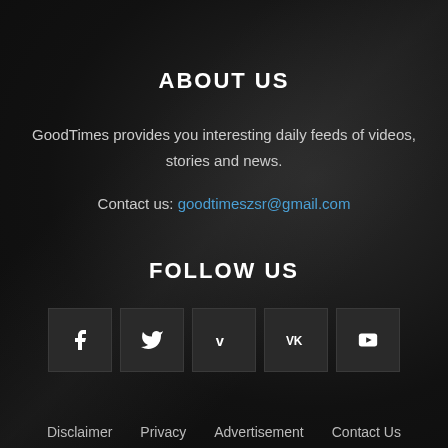ABOUT US
GoodTimes provides you interesting daily feeds of videos, stories and news.
Contact us: goodtimeszsr@gmail.com
FOLLOW US
[Figure (infographic): Five social media icon buttons: Facebook (f), Twitter (bird), Vimeo (v), VK (VK), YouTube (play button)]
Disclaimer  Privacy  Advertisement  Contact Us
© Copyright by GoodTimes